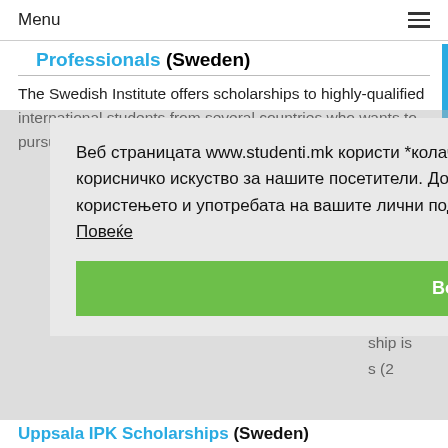Menu
Professionals (Sweden)
The Swedish Institute offers scholarships to highly-qualified international students from several countries who wants to pursue full-time master's level studies in
Веб страницата www.studenti.mk користи *колачиња со цел да овозможи и креира подобро корисничко искуство за нашите посетители. Доколку сакате да дознаете повеќе за користењето и употребата на вашите лични податоци кликнете на следниот линк  Дознај Повеќе
Во Ред!
rships me ship is s (2
Uppsala IPK Scholarships (Sweden)